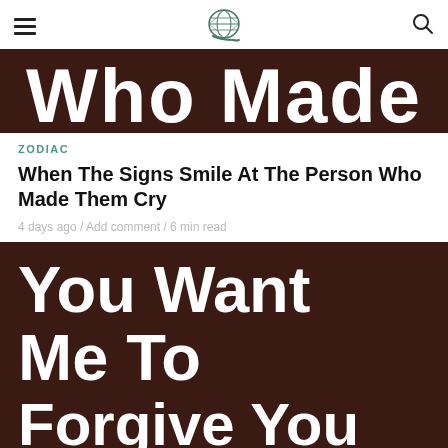Navigation header with hamburger menu, globe logo, and search icon
[Figure (photo): Dark brown banner with large white bold text reading 'Who Made' (partial, cropped at top)]
ZODIAC
When The Signs Smile At The Person Who Made Them Cry
4 days ago / Add comment / 6 min read
[Figure (photo): Dark brown banner with large white bold text reading 'You Want Me To Forgive You According' (cropped at bottom)]